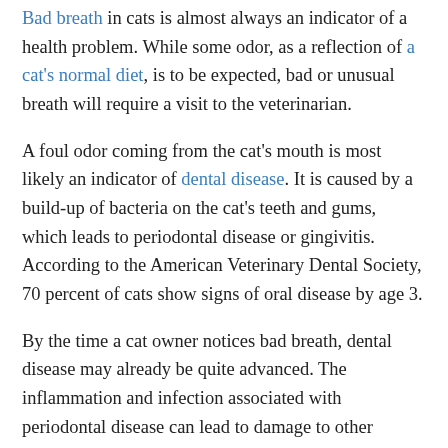Bad breath in cats is almost always an indicator of a health problem. While some odor, as a reflection of a cat's normal diet, is to be expected, bad or unusual breath will require a visit to the veterinarian.
A foul odor coming from the cat's mouth is most likely an indicator of dental disease. It is caused by a build-up of bacteria on the cat's teeth and gums, which leads to periodontal disease or gingivitis. According to the American Veterinary Dental Society, 70 percent of cats show signs of oral disease by age 3.
By the time a cat owner notices bad breath, dental disease may already be quite advanced. The inflammation and infection associated with periodontal disease can lead to damage to other organs such as the heart, kidney and liver, and lead to other serious health problems. Dental disease